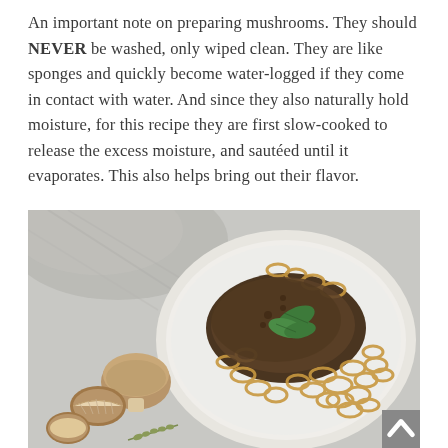An important note on preparing mushrooms. They should NEVER be washed, only wiped clean. They are like sponges and quickly become water-logged if they come in contact with water. And since they also naturally hold moisture, for this recipe they are first slow-cooked to release the excess moisture, and sautéed until it evaporates. This also helps bring out their flavor.
[Figure (photo): Overhead food photo showing a white ceramic plate with spiral pasta (trofie or lumache) topped with mushroom and lentil sauce and fresh basil leaves, alongside whole and halved mushrooms and a sprig of thyme on a light grey surface, with a grey linen cloth in the upper left.]